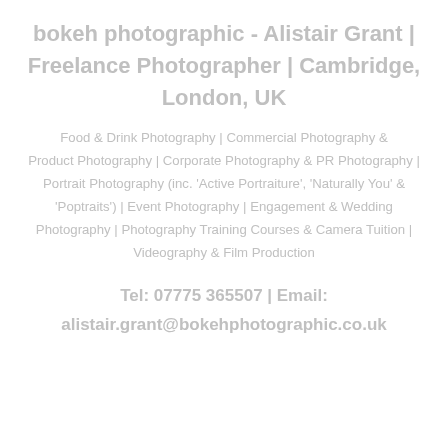bokeh photographic - Alistair Grant | Freelance Photographer | Cambridge, London, UK
Food & Drink Photography | Commercial Photography & Product Photography | Corporate Photography & PR Photography | Portrait Photography (inc. 'Active Portraiture', 'Naturally You' & 'Poptraits') | Event Photography | Engagement & Wedding Photography | Photography Training Courses & Camera Tuition | Videography & Film Production
Tel: 07775 365507 | Email: alistair.grant@bokehphotographic.co.uk